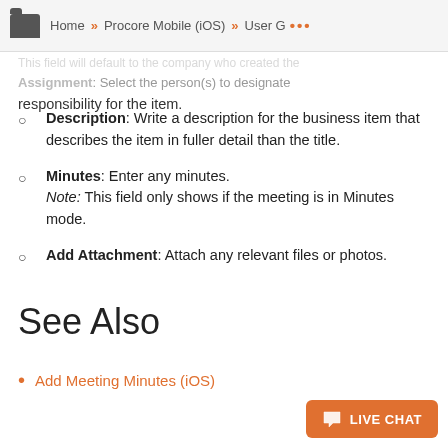Home » Procore Mobile (iOS) » User G ...
Assignment: Select the person(s) to designate responsibility for the item.
Description: Write a description for the business item that describes the item in fuller detail than the title.
Minutes: Enter any minutes. Note: This field only shows if the meeting is in Minutes mode.
Add Attachment: Attach any relevant files or photos.
See Also
Add Meeting Minutes (iOS)